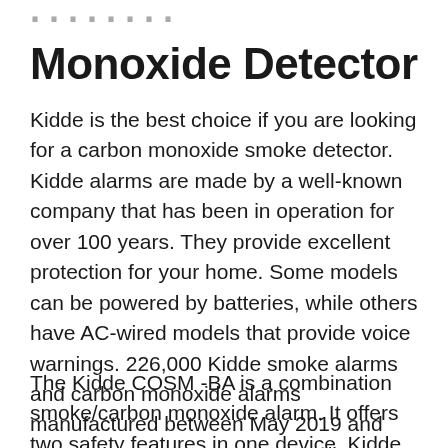Monoxide Detector
Kidde is the best choice if you are looking for a carbon monoxide smoke detector. Kidde alarms are made by a well-known company that has been in operation for over 100 years. They provide excellent protection for your home. Some models can be powered by batteries, while others have AC-wired models that provide voice warnings. 226,000 Kidde smoke alarms and carbon monoxide alarms manufactured between May 2019 and September 2020 are under recall.
The Kidde COSM -BA is a combination smoke/carbon monoxide alarm. It offers two safety features in one device. Kidde alarms